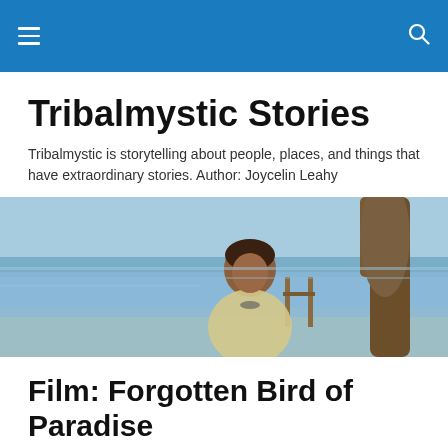Tribalmystic Stories — navigation header bar
Tribalmystic Stories
Tribalmystic is storytelling about people, places, and things that have extraordinary stories. Author: Joycelin Leahy
[Figure (photo): A smiling woman standing near a tree by the sea in a tropical setting]
Film: Forgotten Bird of Paradise
Rate This